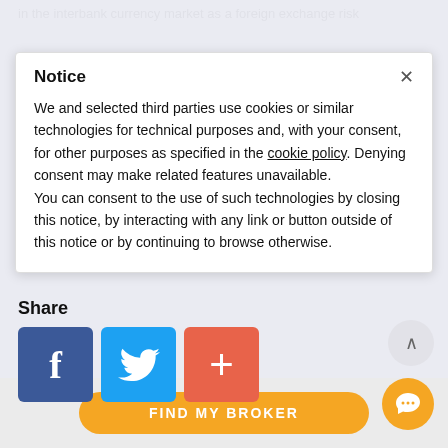in the interbank currency market as a foreign exchange risk
Notice
We and selected third parties use cookies or similar technologies for technical purposes and, with your consent, for other purposes as specified in the cookie policy. Denying consent may make related features unavailable.
You can consent to the use of such technologies by closing this notice, by interacting with any link or button outside of this notice or by continuing to browse otherwise.
with readers feedback. Read more about our methodology
Share
[Figure (other): Social share buttons: Facebook (blue), Twitter (light blue), Plus/share (coral/orange-red)]
[Figure (other): Find My Broker button (orange rounded rectangle) at the bottom of the page]
[Figure (other): Chat/support button (orange circle with chat icon) in bottom right corner]